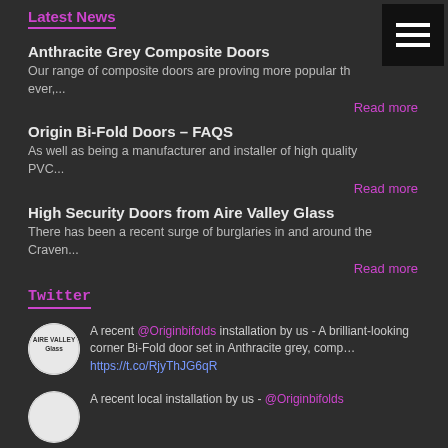Latest News
Anthracite Grey Composite Doors
Our range of composite doors are proving more popular th ever,...
Read more
Origin Bi-Fold Doors – FAQS
As well as being a manufacturer and installer of high quality PVC...
Read more
High Security Doors from Aire Valley Glass
There has been a recent surge of burglaries in and around the Craven...
Read more
Twitter
A recent @Originbifolds installation by us - A brilliant-looking corner Bi-Fold door set in Anthracite grey, comp... https://t.co/RjyThJG6qR
A recent local installation by us - @Originbifolds